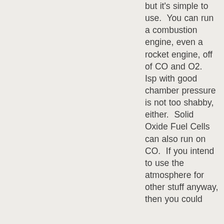but it's simple to use.  You can run a combustion engine, even a rocket engine, off of CO and O2.  Isp with good chamber pressure is not too shabby, either.  Solid Oxide Fuel Cells can also run on CO.  If you intend to use the atmosphere for other stuff anyway, then you could